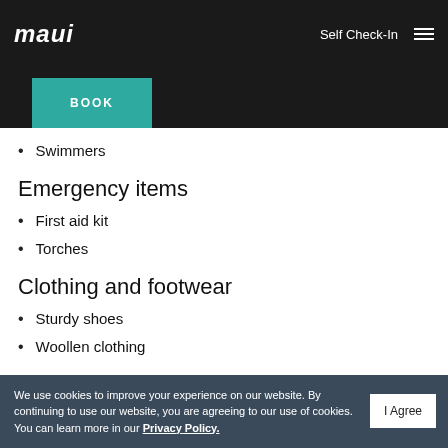maui | Self Check-In
Swimmers
Emergency items
First aid kit
Torches
Clothing and footwear
Sturdy shoes
Woollen clothing
We use cookies to improve your experience on our website. By continuing to use our website, you are agreeing to our use of cookies. You can learn more in our Privacy Policy. | I Agree